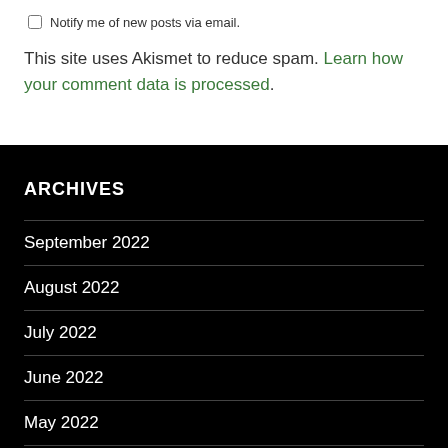Notify me of new posts via email.
This site uses Akismet to reduce spam. Learn how your comment data is processed.
ARCHIVES
September 2022
August 2022
July 2022
June 2022
May 2022
April 2022